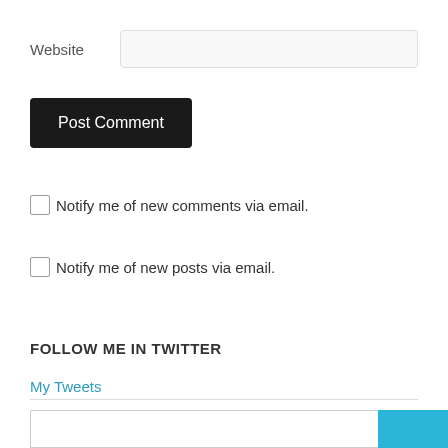Website
Post Comment
Notify me of new comments via email.
Notify me of new posts via email.
FOLLOW ME IN TWITTER
My Tweets